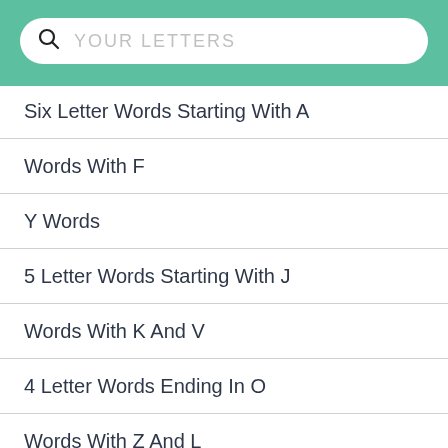YOUR LETTERS
Six Letter Words Starting With A
Words With F
Y Words
5 Letter Words Starting With J
Words With K And V
4 Letter Words Ending In O
Words With Z And L
7 Letter Word Starting With C
Words Ending In J
Words With Y And Z